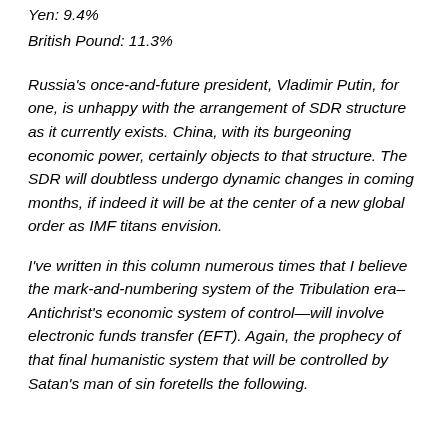Yen: 9.4%
British Pound: 11.3%
Russia's once-and-future president, Vladimir Putin, for one, is unhappy with the arrangement of SDR structure as it currently exists. China, with its burgeoning economic power, certainly objects to that structure. The SDR will doubtless undergo dynamic changes in coming months, if indeed it will be at the center of a new global order as IMF titans envision.
I've written in this column numerous times that I believe the mark-and-numbering system of the Tribulation era–Antichrist's economic system of control—will involve electronic funds transfer (EFT). Again, the prophecy of that final humanistic system that will be controlled by Satan's man of sin foretells the following.